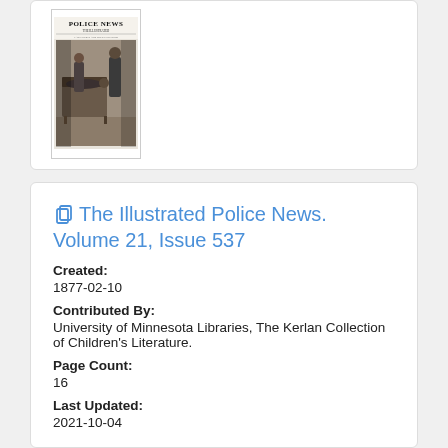[Figure (illustration): Thumbnail cover image of The Illustrated Police News newspaper, showing the masthead 'Police News' in large serif type at the top, with a black and white illustrated scene below depicting figures in a Victorian-era interior setting.]
The Illustrated Police News. Volume 21, Issue 537
Created:
1877-02-10
Contributed By:
University of Minnesota Libraries, The Kerlan Collection of Children's Literature.
Page Count:
16
Last Updated:
2021-10-04